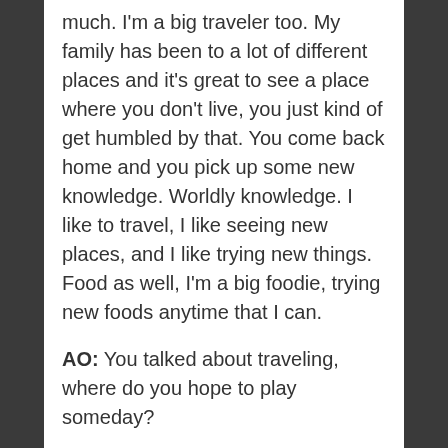much. I'm a big traveler too. My family has been to a lot of different places and it's great to see a place where you don't live, you just kind of get humbled by that. You come back home and you pick up some new knowledge. Worldly knowledge. I like to travel, I like seeing new places, and I like trying new things. Food as well, I'm a big foodie, trying new foods anytime that I can.
AO: You talked about traveling, where do you hope to play someday?
TJ: I really, really wanna play New York